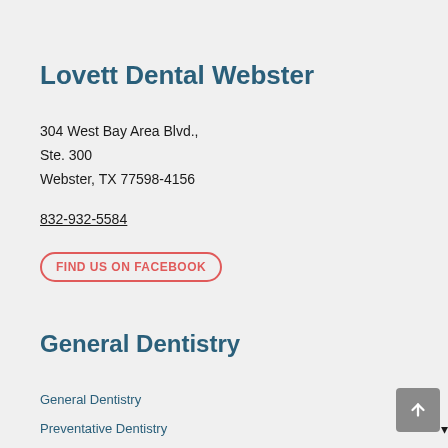Lovett Dental Webster
304 West Bay Area Blvd.,
Ste. 300
Webster, TX 77598-4156
832-932-5584
FIND US ON FACEBOOK
General Dentistry
General Dentistry
Preventative Dentistry
Restorative Dentistry
Emergency Dental Services